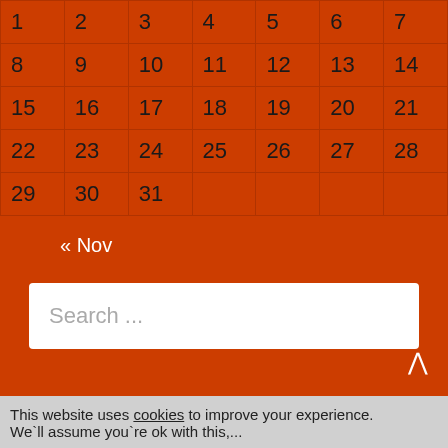| 1 | 2 | 3 | 4 | 5 | 6 | 7 |
| 8 | 9 | 10 | 11 | 12 | 13 | 14 |
| 15 | 16 | 17 | 18 | 19 | 20 | 21 |
| 22 | 23 | 24 | 25 | 26 | 27 | 28 |
| 29 | 30 | 31 |  |  |  |  |
« Nov
Search ...
This website uses cookies to improve your experience. We'll assume you're ok with this,...